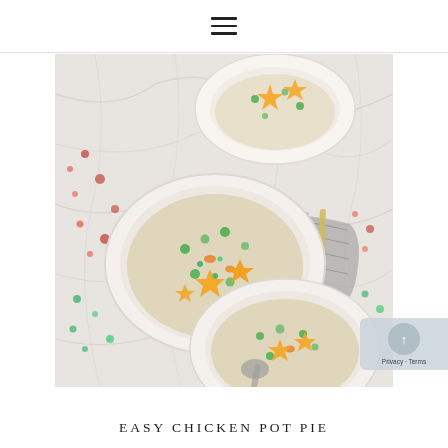≡
[Figure (photo): Overhead view of three white bowls of creamy chicken pot pie soup on a marble surface, each topped with golden star-shaped pastry cutouts, with peas, carrots, and herbs visible; a gray knitted cloth and gold spoons are nearby.]
EASY CHICKEN POT PIE